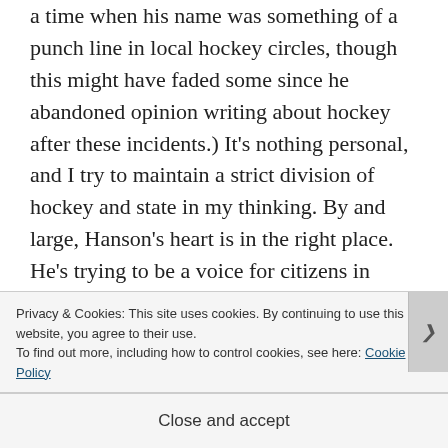a time when his name was something of a punch line in local hockey circles, though this might have faded some since he abandoned opinion writing about hockey after these incidents.) It's nothing personal, and I try to maintain a strict division of hockey and state in my thinking. By and large, Hanson's heart is in the right place. He's trying to be a voice for citizens in Duluth who aren't thrilled with aspects of the Ness
Privacy & Cookies: This site uses cookies. By continuing to use this website, you agree to their use.
To find out more, including how to control cookies, see here: Cookie Policy
Close and accept